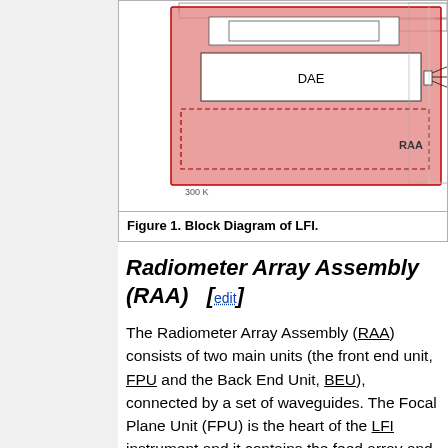[Figure (schematic): Partial block diagram of LFI (Low Frequency Instrument) showing the RAA block with DAE label and connecting lines to the right edge of the page. The diagram shows nested rectangles with a pink/red filled RAA region, a white DAE box, inner boxes, dashed boundary lines, and '300 K' temperature label.]
Figure 1. Block Diagram of LFI.
Radiometer Array Assembly (RAA)  [edit]
The Radiometer Array Assembly (RAA) consists of two main units (the front end unit, FPU and the Back End Unit, BEU), connected by a set of waveguides. The Focal Plane Unit (FPU) is the heart of the LFI instrument and it contains the feed array and associated orthomode transducers (OMTs) and FEMs, all cooled to 20 K by the sorption cooler. The FPU comprises a set of 11 modules, which are mounted on a mechanical support which meets the thermo…